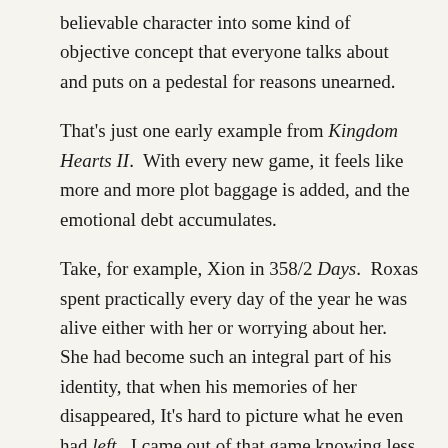believable character into some kind of objective concept that everyone talks about and puts on a pedestal for reasons unearned.
That's just one early example from Kingdom Hearts II. With every new game, it feels like more and more plot baggage is added, and the emotional debt accumulates.
Take, for example, Xion in 358/2 Days. Roxas spent practically every day of the year he was alive either with her or worrying about her. She had become such an integral part of his identity, that when his memories of her disappeared, It's hard to picture what he even had left. I came out of that game knowing less about Roxas than I did going in, which was impressive, given that